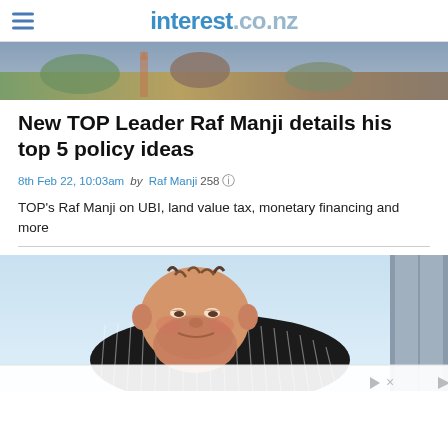interest.co.nz
[Figure (photo): Hero image at top showing outdoor landscape scene with rocks and vegetation]
New TOP Leader Raf Manji details his top 5 policy ideas
8th Feb 22, 10:03am by Raf Manji 258
TOP's Raf Manji on UBI, land value tax, monetary financing and more
[Figure (illustration): Cartoon illustration of a heavy-set man in a pinstripe suit with a yellow tie, reclining comfortably, with a smug expression]